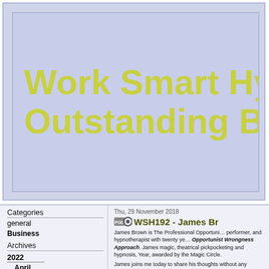Work Smart Hypnosis | Hypnosis For Outstanding Business Success
Categories
general
Business
Archives
2022
April
March
February
January
2021
December
November
October
September
August
Thu, 29 November 2018
WSH192 - James Br…
James Brown is The Professional Opportunist performer, and hypnotherapist with twenty years experience who applies the Opportunist Wrongness Approach. James is renowned for his expertise in magic, theatrical pickpocketing and hypnosis, and has won Mentalist of the Year, awarded by the Magic Circle.
James joins me today to share his thoughts on how suggestions without any technique behind them work and what makes them successful, the art behind his style of hypnosis, discusses the permissive approach, and out of an all or nothing mindset.
“We should be evidence-based in our research, but we should be as creative as possible.” - James Brown
James' origins, including magic, the…